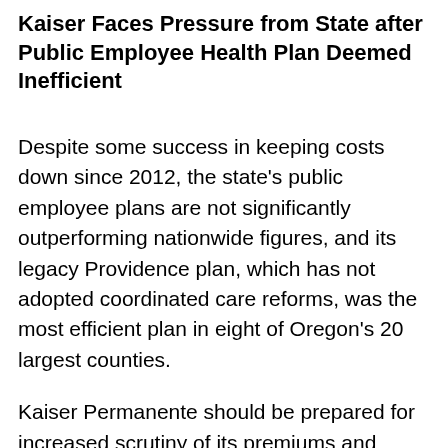Kaiser Faces Pressure from State after Public Employee Health Plan Deemed Inefficient
Despite some success in keeping costs down since 2012, the state's public employee plans are not significantly outperforming nationwide figures, and its legacy Providence plan, which has not adopted coordinated care reforms, was the most efficient plan in eight of Oregon's 20 largest counties.
Kaiser Permanente should be prepared for increased scrutiny of its premiums and health spending priorities for public employees after a report Tuesday that showed it was easily the least efficient of the health insurers that contract with the Public Employees Benefit